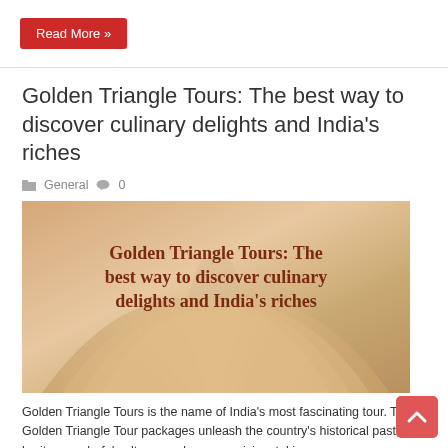Read More »
Golden Triangle Tours: The best way to discover culinary delights and India's riches
General  0
[Figure (illustration): Banner image with open book background in warm peach/tan tones, overlaid with bold dark red text reading: Golden Triangle Tours: The best way to discover culinary delights and India's riches]
Golden Triangle Tours is the name of India's most fascinating tour. The Golden Triangle Tour packages unleash the country's historical past, heritage, colorful cultures and savory cuisine, taking you on a